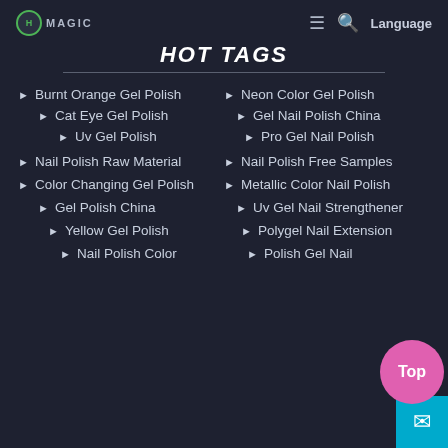HOMAGIC  ≡  🔍  Language
HOT TAGS
Burnt Orange Gel Polish
Neon Color Gel Polish
Cat Eye Gel Polish
Gel Nail Polish China
Uv Gel Polish
Pro Gel Nail Polish
Nail Polish Raw Material
Nail Polish Free Samples
Color Changing Gel Polish
Metallic Color Nail Polish
Gel Polish China
Uv Gel Nail Strengthener
Yellow Gel Polish
Polygel Nail Extension
Nail Polish Color
Polish Gel Nail